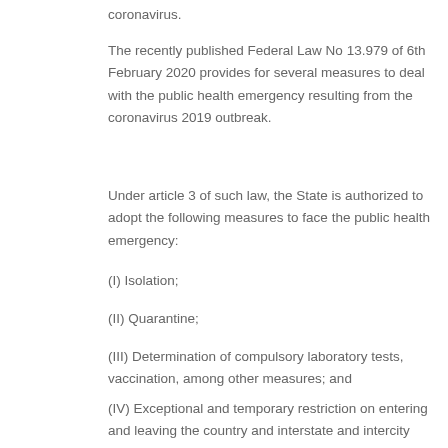coronavirus.
The recently published Federal Law No 13.979 of 6th February 2020 provides for several measures to deal with the public health emergency resulting from the coronavirus 2019 outbreak.
Under article 3 of such law, the State is authorized to adopt the following measures to face the public health emergency:
(I) Isolation;
(II) Quarantine;
(III) Determination of compulsory laboratory tests, vaccination, among other measures; and
(IV) Exceptional and temporary restriction on entering and leaving the country and interstate and intercity movements.